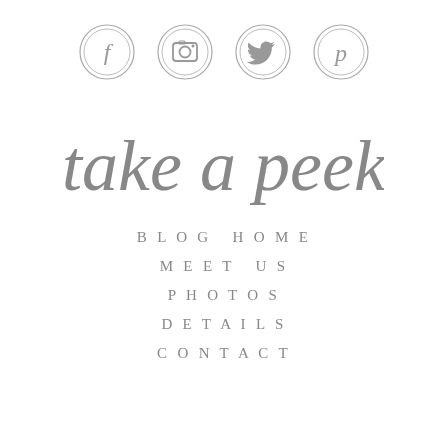[Figure (illustration): Four social media icons in circles: Facebook (f), Instagram (camera), Twitter (bird), Pinterest (p)]
take a peek
BLOG HOME
MEET US
PHOTOS
DETAILS
CONTACT